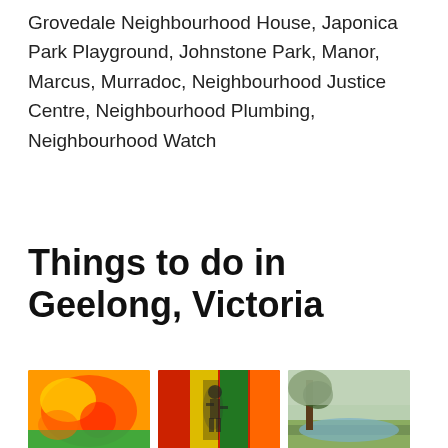Grovedale Neighbourhood House, Japonica Park Playground, Johnstone Park, Manor, Marcus, Murradoc, Neighbourhood Justice Centre, Neighbourhood Plumbing, Neighbourhood Watch
Things to do in Geelong, Victoria
[Figure (photo): Three thumbnail photos of Geelong attractions: Adventure Park Geelong, BOUNCEinc Geelong, Balyang Sanctuary]
Adventure Park Geelong, Victoria
BOUNCEinc Geelong
Balyang Sanctuary